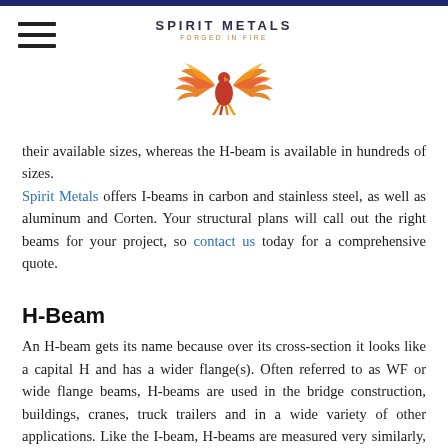[Figure (logo): Spirit Metals logo with phoenix bird and text 'SPIRIT METALS FORGED IN FIRE']
their available sizes, whereas the H-beam is available in hundreds of sizes.
Spirit Metals offers I-beams in carbon and stainless steel, as well as aluminum and Corten. Your structural plans will call out the right beams for your project, so contact us today for a comprehensive quote.
H-Beam
An H-beam gets its name because over its cross-section it looks like a capital H and has a wider flange(s). Often referred to as WF or wide flange beams, H-beams are used in the bridge construction, buildings, cranes, truck trailers and in a wide variety of other applications. Like the I-beam, H-beams are measured very similarly, and it is crucial to know what your load capacity is. Knowing the depth of section and pounds per foot is an essential element when requesting a quote for